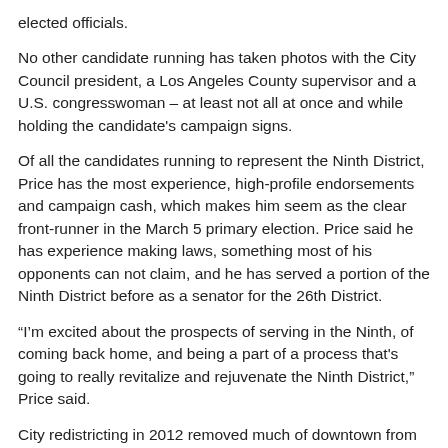elected officials.
No other candidate running has taken photos with the City Council president, a Los Angeles County supervisor and a U.S. congresswoman – at least not all at once and while holding the candidate's campaign signs.
Of all the candidates running to represent the Ninth District, Price has the most experience, high-profile endorsements and campaign cash, which makes him seem as the clear front-runner in the March 5 primary election. Price said he has experience making laws, something most of his opponents can not claim, and he has served a portion of the Ninth District before as a senator for the 26th District.
“I’m excited about the prospects of serving in the Ninth, of coming back home, and being a part of a process that's going to really revitalize and rejuvenate the Ninth District,” Price said.
City redistricting in 2012 removed much of downtown from the former “Great Ninth” and added USC and L.A. Live to what Price now calls the “New Ninth.” Price said he is pleased that the redistricting